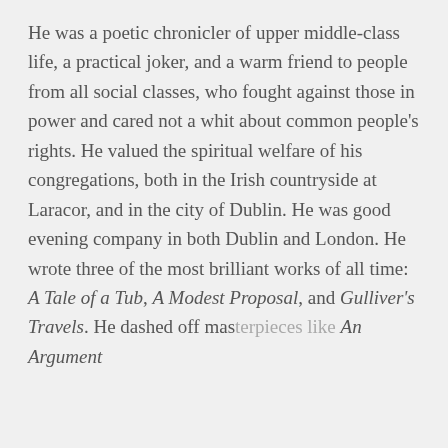He was a poetic chronicler of upper middle-class life, a practical joker, and a warm friend to people from all social classes, who fought against those in power and cared not a whit about common people's rights. He valued the spiritual welfare of his congregations, both in the Irish countryside at Laracor, and in the city of Dublin. He was good evening company in both Dublin and London. He wrote three of the most brilliant works of all time: A Tale of a Tub, A Modest Proposal, and Gulliver's Travels. He dashed off mas[terpieces like] An Argument
collapse
You are not currently authenticated. If you would like to authenticate using a different subscribed institution or
This website uses cookies to ensure you get the best experience on our website. Without cookies your experience may not be seamless.
Accept